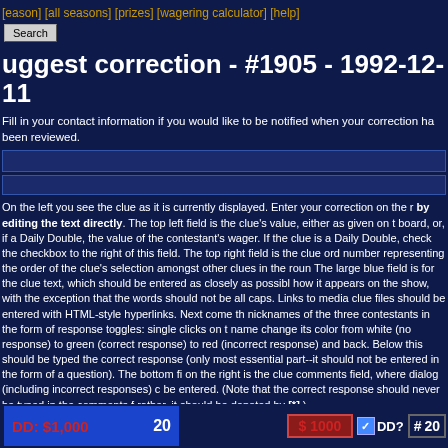[season] [all seasons] [prizes] [wagering calculator] [help]
Search
uggest correction - #1905 - 1992-12-11
Fill in your contact information if you would like to be notified when your correction has been reviewed.
On the left you see the clue as it is currently displayed. Enter your correction on the right by editing the text directly. The top left field is the clue's value, either as given on the board, or, if a Daily Double, the value of the contestant's wager. If the clue is a Daily Double, check the checkbox to the right of this field. The top right field is the clue order number representing the order of the clue's selection amongst other clues in the round. The large blue field is for the clue text, which should be entered as closely as possible how it appears on the show, with the exception that the words should not be all caps. Links to media clue files should be entered with HTML-style hyperlinks. Next come the nicknames of the three contestants in the form of response toggles: single clicks on the name change its color from white (no response) to green (correct response) to red (incorrect response) and back. Below this should be typed the correct response (only the most essential part--it should not be entered in the form of a question). The bottom field on the right is the clue comments field, where dialog (including incorrect responses) can be entered. (Note that the correct response should never be typed in the comments field; rather, it should be denoted by [*].)